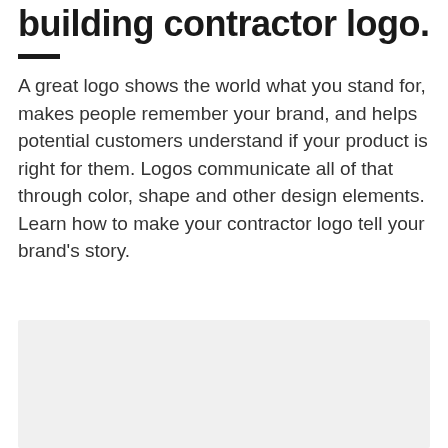building contractor logo.
A great logo shows the world what you stand for, makes people remember your brand, and helps potential customers understand if your product is right for them. Logos communicate all of that through color, shape and other design elements. Learn how to make your contractor logo tell your brand’s story.
[Figure (other): Light gray rectangular image placeholder area at the bottom of the page]